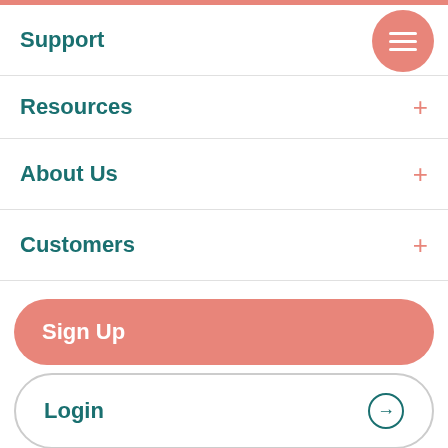Support
Resources
About Us
Customers
Sign Up
Login
Talk to a real person
+1 (888) 982-9307